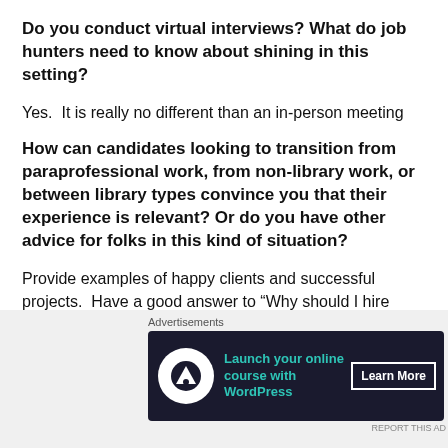Do you conduct virtual interviews? What do job hunters need to know about shining in this setting?
Yes.  It is really no different than an in-person meeting
How can candidates looking to transition from paraprofessional work, from non-library work, or between library types convince you that their experience is relevant? Or do you have other advice for folks in this kind of situation?
Provide examples of happy clients and successful projects.  Have a good answer to “Why should I hire you”?
When does your organization *first* mention salary
[Figure (other): Advertisement banner: 'Launch your online course with WordPress' with Learn More button on dark background]